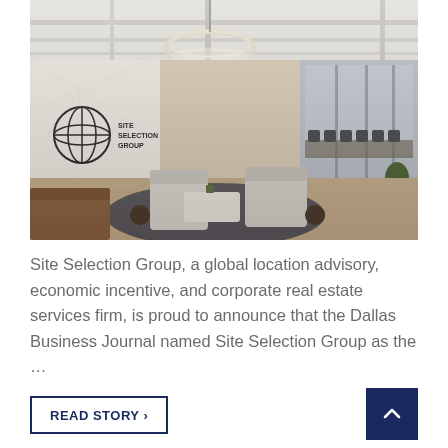[Figure (photo): Interior photo of Site Selection Group office lobby/reception area with white lounge chairs, blue rug, coffee table, a Site Selection Group globe logo on a textured white accent wall, circular pendant light fixture, and a glass-walled conference room visible in the background with black chairs. Light wood flooring.]
Site Selection Group, a global location advisory, economic incentive, and corporate real estate services firm, is proud to announce that the Dallas Business Journal named Site Selection Group as the …
READ STORY ›